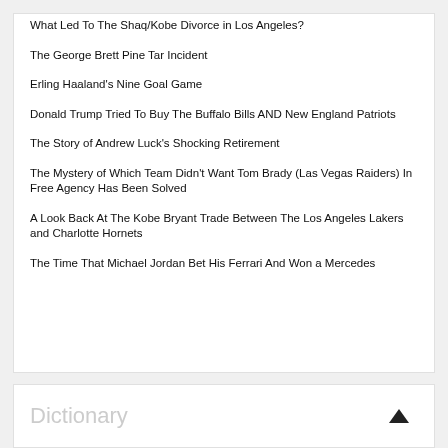What Led To The Shaq/Kobe Divorce in Los Angeles?
The George Brett Pine Tar Incident
Erling Haaland's Nine Goal Game
Donald Trump Tried To Buy The Buffalo Bills AND New England Patriots
The Story of Andrew Luck's Shocking Retirement
The Mystery of Which Team Didn't Want Tom Brady (Las Vegas Raiders) In Free Agency Has Been Solved
A Look Back At The Kobe Bryant Trade Between The Los Angeles Lakers and Charlotte Hornets
The Time That Michael Jordan Bet His Ferrari And Won a Mercedes
Dictionary